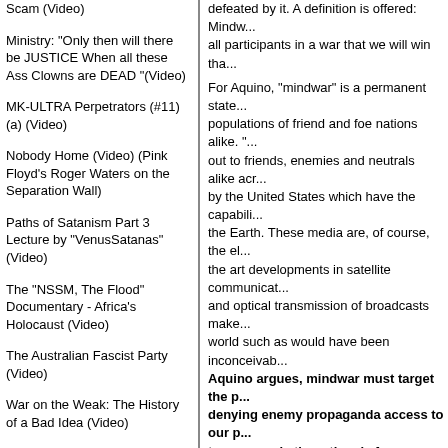Scam (Video)
Ministry: "Only then will there be JUSTICE When all these Ass Clowns are DEAD "(Video)
MK-ULTRA Perpetrators (#11) (a) (Video)
Nobody Home (Video) (Pink Floyd's Roger Waters on the Separation Wall)
Paths of Satanism Part 3 Lecture by "VenusSatanas" (Video)
The "NSSM, The Flood" Documentary - Africa's Holocaust (Video)
The Australian Fascist Party (Video)
War on the Weak: The History of a Bad Idea (Video)
LINKS
Links
defeated by it. A definition is offered: Mindw... all participants in a war that we will win tha...
For Aquino, "mindwar" is a permanent state... populations of friend and foe nations alike. "... out to friends, enemies and neutrals alike acr... by the United States which have the capabili... the Earth. These media are, of course, the el... the art developments in satellite communicat... and optical transmission of broadcasts make... world such as would have been inconceivab...
Aquino argues, mindwar must target the p... denying enemy propaganda access to our p... to our people the rationale for our nationa... that, if it does not now exist, will be forced... States."
Satanic Subversion of the U.S. Military
Jeffrey Steinberg
http://www.theforbiddenknowledge.com/har...
Posted by ce399 on 08 October 2008 at 12:00 in Ale... Vallely, Cult Groups, Esoterica, From PSYOP to Min... Steinberg, Johnny Gosch, Joseph Russoniello, Lawr... Rixon, Mind Control, MK-ULTRA, Multiple Personalit... Fascism, Noreen Gosch, Paul A. Bonacci, Revolutio... Satanism, Strategic Communications, Temple of Set... TrackBack (0)
DIGG THIS | SAVE TO DEL.ICIO.US
10 October 2007
"His First Glimpse of Fascism...was a Fav...